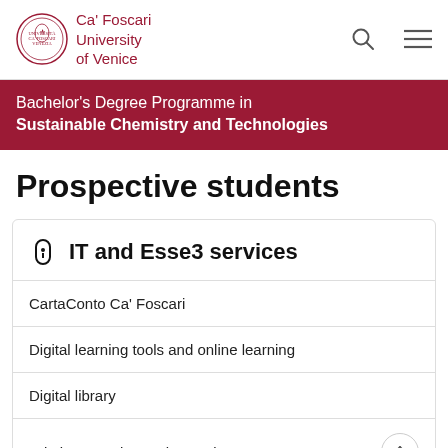Ca' Foscari University of Venice
Bachelor's Degree Programme in Sustainable Chemistry and Technologies
Prospective students
IT and Esse3 services
CartaConto Ca' Foscari
Digital learning tools and online learning
Digital library
Printing, copying and scanning